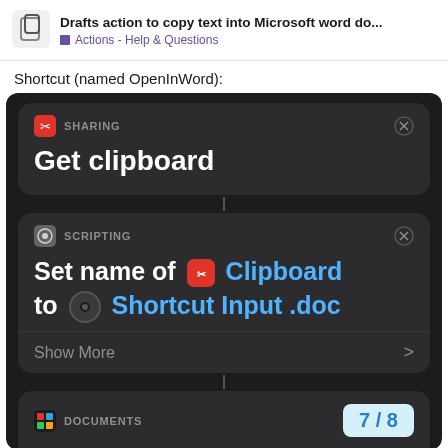Drafts action to copy text into Microsoft word do... | Actions - Help & Questions
Shortcut (named OpenInWord):
[Figure (screenshot): Screenshot of iOS Shortcuts app showing two action cards: 1) SHARING - Get clipboard, 2) SCRIPTING - Set name of [Clipboard icon] Clipboard to [Input icon] Shortcut Input .doc, with Show More option and DOCUMENTS section at bottom with page indicator 7/8]